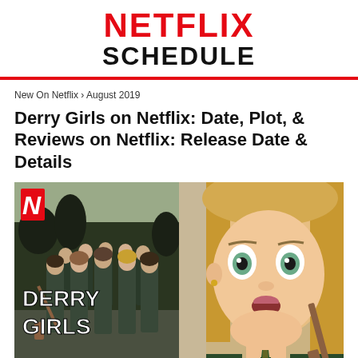NETFLIX SCHEDULE
New On Netflix › August 2019
Derry Girls on Netflix: Date, Plot, & Reviews on Netflix: Release Date & Details
[Figure (photo): Derry Girls Netflix promotional image showing group of school students in uniform on the left half with 'DERRY GIRLS' text overlay and Netflix N logo, and a close-up of a blonde teenage girl in school uniform on the right half]